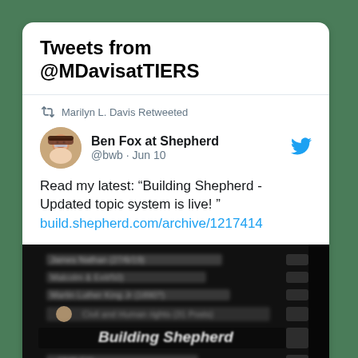Tweets from @MDavisatTIERS
Marilyn L. Davis Retweeted
Ben Fox at Shepherd @bwb · Jun 10
Read my latest: “Building Shepherd - Updated topic system is live! ” build.shepherd.com/archive/1217414
[Figure (screenshot): Dark blurred screenshot of a webpage showing 'Building Shepherd' topic system interface with blurred list rows]